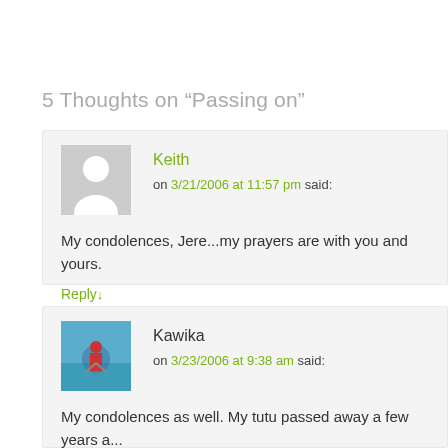5 Thoughts on “Passing on”
Keith on 3/21/2006 at 11:57 pm said:
My condolences, Jere...my prayers are with you and yours.
Reply↓
Kawika on 3/23/2006 at 9:38 am said:
My condolences as well. My tutu passed away a few years a... positive thing I could say about it was that she was finally fre... will pray that your family finds comfort in what must be a dif...